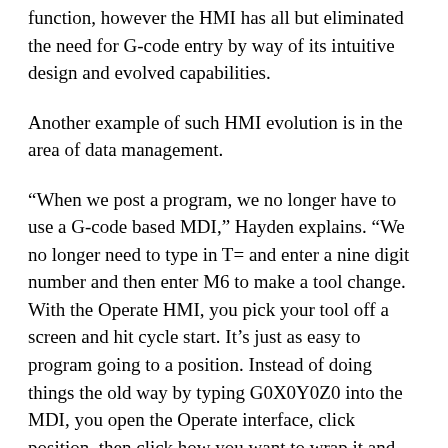function, however the HMI has all but eliminated the need for G-code entry by way of its intuitive design and evolved capabilities.
Another example of such HMI evolution is in the area of data management.
“When we post a program, we no longer have to use a G-code based MDI,” Hayden explains. “We no longer need to type in T= and enter a nine digit number and then enter M6 to make a tool change. With the Operate HMI, you pick your tool off a screen and hit cycle start. It’s just as easy to program going to a position. Instead of doing things the old way by typing G0X0Y0Z0 into the MDI, you open the Operate interface, click position, then click how you want to wrap it and then you just type the numbers into those fields. So it’s a lot more user friendly.”
Hayden says the Siemens CNC platform has supported greater collaboration at MTM between him and the machinists, and this is helping the company find ways to increase performance and efficiency. He agrees with his coworkers’ assessments that